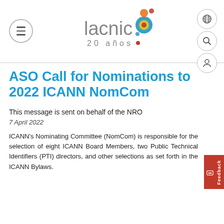[Figure (logo): LACNIC logo with colorful circles and '20 años' text below]
ASO Call for Nominations to 2022 ICANN NomCom
This message is sent on behalf of the NRO
7 April 2022
ICANN's Nominating Committee (NomCom) is responsible for the selection of eight ICANN Board Members, two Public Technical Identifiers (PTI) directors, and other selections as set forth in the ICANN Bylaws.